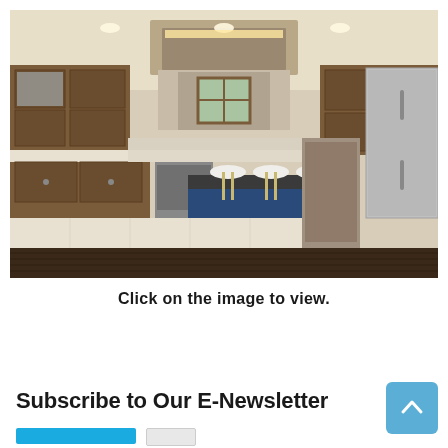[Figure (photo): Interior kitchen photo showing dark wood cabinets, a blue kitchen island with three white bar stools, stainless steel appliances including a large refrigerator, recessed lighting with a tray ceiling, a window above the sink, and light tile flooring transitioning to dark hardwood.]
Click on the image to view.
Subscribe to Our E-Newsletter